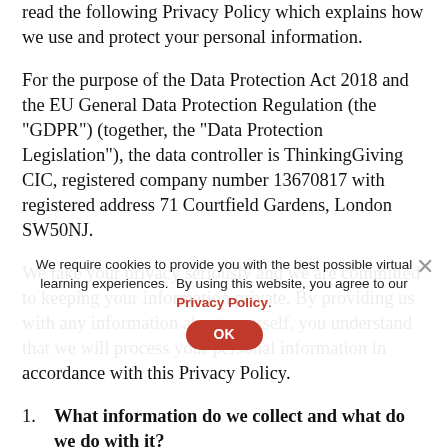read the following Privacy Policy which explains how we use and protect your personal information.
For the purpose of the Data Protection Act 2018 and the EU General Data Protection Regulation (the "GDPR") (together, the "Data Protection Legislation"), the data controller is ThinkingGiving CIC, registered company number 13670817 with registered address 71 Courtfield Gardens, London SW50NJ.
We take your privacy seriously and we are committed to keeping your information private. By providing us with any information about yourself, you understand that we will process your personal information in accordance with this Privacy Policy.
1. What information do we collect and what do we do with it? When you subscribe to the ThinkingGiving course on our site, as part of the enrolling process, we collect the
Cookie banner: We require cookies to provide you with the best possible virtual learning experiences. By using this website, you agree to our Privacy Policy. [OK]